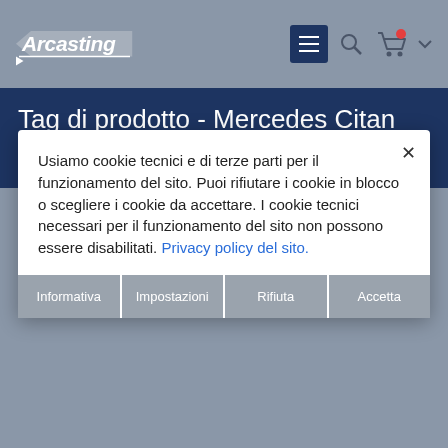Arcasting - navigation header with logo, menu, search and cart icons
Tag di prodotto - Mercedes Citan (2012-)
Usiamo cookie tecnici e di terze parti per il funzionamento del sito. Puoi rifiutare i cookie in blocco o scegliere i cookie da accettare. I cookie tecnici necessari per il funzionamento del sito non possono essere disabilitati. Privacy policy del sito.
Informativa
Impostazioni
Rifiuta
Accetta
CONTACT US
ARCASTING s.r.l. Unipersonale
Indirizzo: